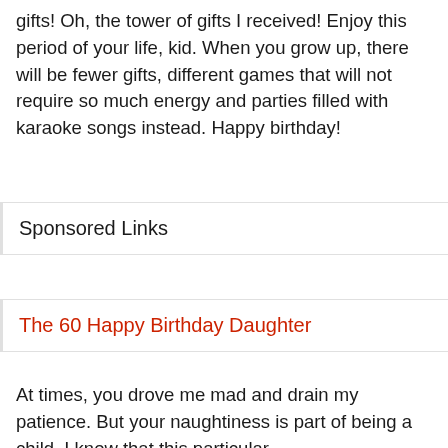gifts! Oh, the tower of gifts I received! Enjoy this period of your life, kid. When you grow up, there will be fewer gifts, different games that will not require so much energy and parties filled with karaoke songs instead. Happy birthday!
Sponsored Links
The 60 Happy Birthday Daughter
At times, you drove me mad and drain my patience. But your naughtiness is part of being a child. I know that this particular